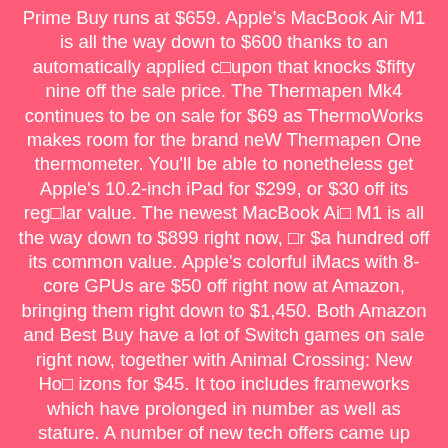Prime Day runs at $659. Apple's MacBook Air M1 is all the way down to $600 thanks to an automatically applied coupon that knocks $fifty nine off the sale price. The Thermapen Mk4 continues to be on sale for $69 as ThermoWorks makes room for the brand new Thermapen One thermometer. You'll be able to nonetheless get Apple's 10.2-inch iPad for $299, or $30 off its regular value. The newest MacBook Air M1 is all the way down to $899 right now, or $a hundred off its common value. Apple's colorful iMacs with 8-core GPUs are $50 off right now at Amazon, bringing them right down to $1,450. Both Amazon and Best Buy have a lot of Switch games on sale right now, together with Animal Crossing: New Horizons for $45. It too includes frameworks which have prolonged in number as well as stature. A number of new tech offers came up across the online this week, plus there are just a few July 4th sales which can be still going on. The truth is, as these superior additions are meant to simplify the whole course of, the net designers too would benefit from it. The blockchain is not just a currency...